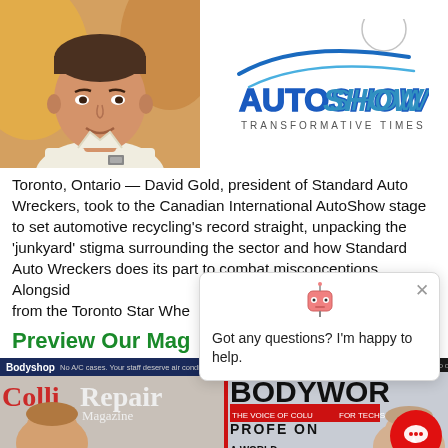[Figure (photo): Portrait photo of David Gold, a man in a white shirt, smiling]
[Figure (logo): Canadian International AutoShow logo with 'AUTOSHOW' text and 'TRANSFORMATIVE TIMES' subtitle, stylized car silhouette lines above]
Toronto, Ontario — David Gold, president of Standard Auto Wreckers, took to the Canadian International AutoShow stage to set automotive recycling's record straight, unpacking the 'junkyard' stigma surrounding the sector and how Standard Auto Wreckers does its part to combat misconceptions. Alongsid from the Toronto Star Whe
Preview Our Mag
[Figure (photo): Cover of Bodyshop/Collision Repair Magazine showing a woman's face with text 'FORE!']
[Figure (photo): Cover of Bodywork Professional magazine showing a woman's face with text 'A WORLD WITHOUT']
[Figure (other): Chat popup overlay with robot icon and text 'Got any questions? I'm happy to help.']